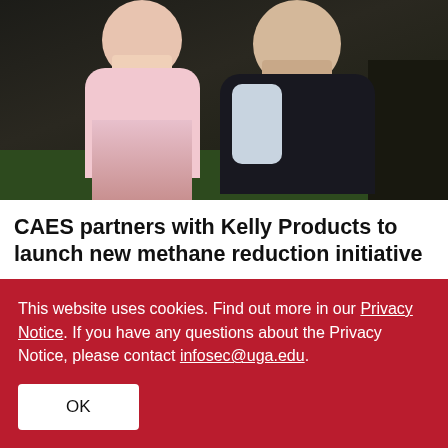[Figure (photo): Two people (a woman in a light pink blazer with floral skirt and a man in a dark navy blazer) standing outdoors in front of a dark building with green landscaping.]
CAES partners with Kelly Products to launch new methane reduction initiative
04/12/22 | Maria M. Lameiras, Jordan Powers
In the decades since Keith Kelly graduated from the University of Georgia's College of Agricultural and
This website uses cookies. Find out more in our Privacy Notice. If you have any questions about the Privacy Notice, please contact infosec@uga.edu.
OK